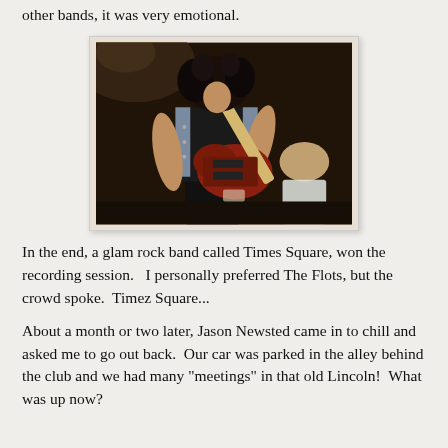All the different bands that weekend, voting some in, keeping other bands, it was very emotional.
[Figure (photo): A guitarist with long curly hair, wearing a denim sleeveless jacket over a black t-shirt, playing an electric guitar on stage. Another person is visible in the background.]
In the end, a glam rock band called Times Square, won the recording session.   I personally preferred The Flots, but the crowd spoke.  Timez Square...
About a month or two later, Jason Newsted came in to chill and asked me to go out back.  Our car was parked in the alley behind the club and we had many "meetings" in that old Lincoln!  What was up now?